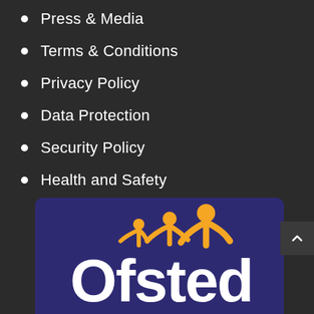Press & Media
Terms & Conditions
Privacy Policy
Data Protection
Security Policy
Health and Safety
[Figure (logo): Ofsted logo on dark purple/navy background with three stylized orange human figures above the white text 'Ofsted']